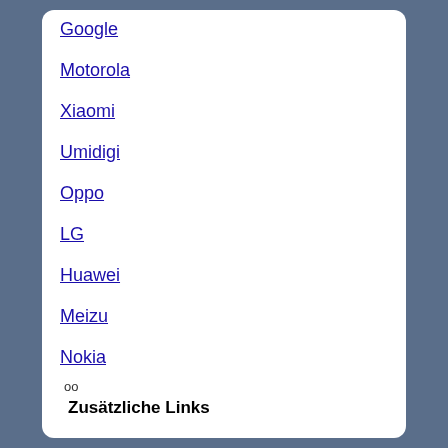Google
Motorola
Xiaomi
Umidigi
Oppo
LG
Huawei
Meizu
Nokia
oo
Zusätzliche Links